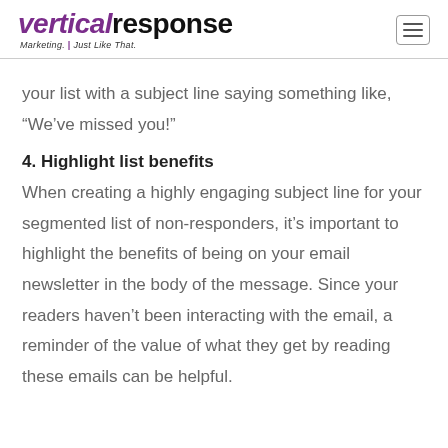VerticalResponse Marketing. Just Like That.
your list with a subject line saying something like, “We’ve missed you!”
4. Highlight list benefits
When creating a highly engaging subject line for your segmented list of non-responders, it’s important to highlight the benefits of being on your email newsletter in the body of the message. Since your readers haven’t been interacting with the email, a reminder of the value of what they get by reading these emails can be helpful.